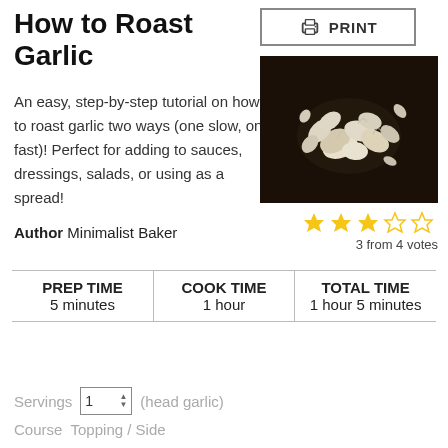How to Roast Garlic
[Figure (other): Print button with printer icon]
[Figure (photo): Photo of garlic cloves scattered on a dark background]
An easy, step-by-step tutorial on how to roast garlic two ways (one slow, one fast)! Perfect for adding to sauces, dressings, salads, or using as a spread!
3 from 4 votes
Author Minimalist Baker
| PREP TIME | COOK TIME | TOTAL TIME |
| --- | --- | --- |
| 5 minutes | 1 hour | 1 hour 5 minutes |
Servings 1 (head garlic)
Course Topping / Side